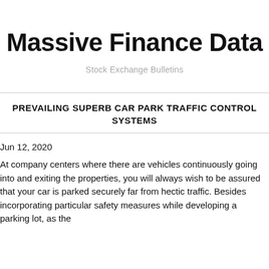Massive Finance Data
Stock Exchange Bulletins
PREVAILING SUPERB CAR PARK TRAFFIC CONTROL SYSTEMS
Jun 12, 2020
At company centers where there are vehicles continuously going into and exiting the properties, you will always wish to be assured that your car is parked securely far from hectic traffic. Besides incorporating particular safety measures while developing a parking lot, as the